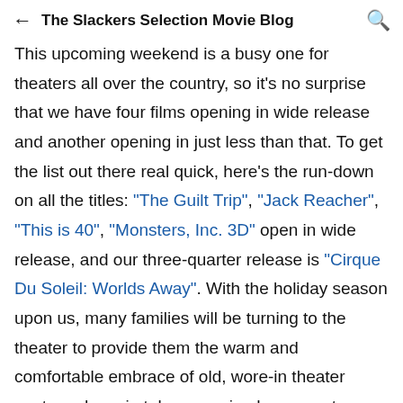The Slackers Selection Movie Blog
This upcoming weekend is a busy one for theaters all over the country, so it's no surprise that we have four films opening in wide release and another opening in just less than that. To get the list out there real quick, here's the run-down on all the titles: "The Guilt Trip", "Jack Reacher", "This is 40", "Monsters, Inc. 3D" open in wide release, and our three-quarter release is "Cirque Du Soleil: Worlds Away". With the holiday season upon us, many families will be turning to the theater to provide them the warm and comfortable embrace of old, wore-in theater seats and semi-stale, overpriced popcorn to indulge in. It's the time where we want to be around our family and friends to share in joy and celebration of a